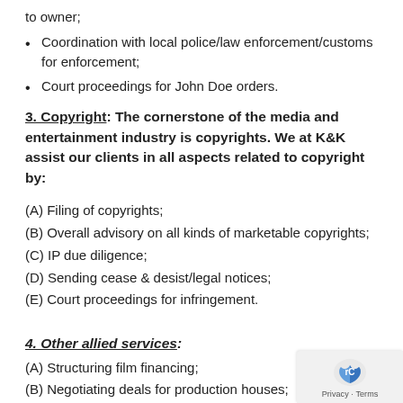to owner;
Coordination with local police/law enforcement/customs for enforcement;
Court proceedings for John Doe orders.
3. Copyright: The cornerstone of the media and entertainment industry is copyrights. We at K&K assist our clients in all aspects related to copyright by:
(A) Filing of copyrights;
(B) Overall advisory on all kinds of marketable copyrights;
(C) IP due diligence;
(D) Sending cease & desist/legal notices;
(E) Court proceedings for infringement.
4. Other allied services:
(A) Structuring film financing;
(B) Negotiating deals for production houses;